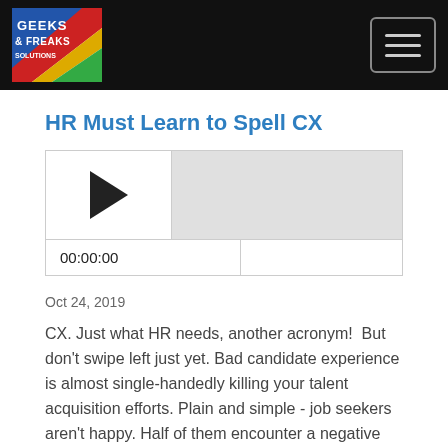Geeks & Freaks podcast logo and navigation
HR Must Learn to Spell CX
[Figure (other): Audio player widget showing a play button, progress bar, and time display reading 00:00:00]
Oct 24, 2019
CX. Just what HR needs, another acronym! But don't swipe left just yet. Bad candidate experience is almost single-handedly killing your talent acquisition efforts. Plain and simple - job seekers aren't happy. Half of them encounter a negative experience with your company or your website even before they apply....
Read More